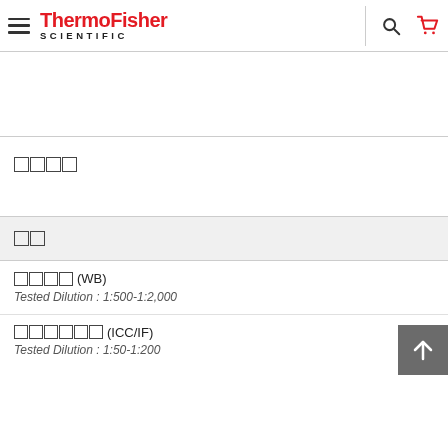ThermoFisher SCIENTIFIC
〓〓〓〓 (tofu characters - product name)
〓〓 (tofu characters - section label)
〓〓〓〓 (WB)
Tested Dilution : 1:500-1:2,000
〓〓〓〓〓〓 (ICC/IF)
Tested Dilution : 1:50-1:200